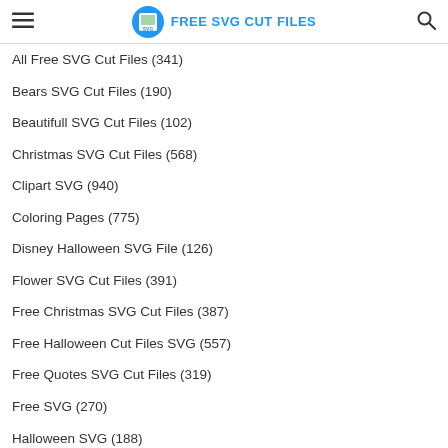FREE SVG CUT FILES
All Free SVG Cut Files (341)
Bears SVG Cut Files (190)
Beautifull SVG Cut Files (102)
Christmas SVG Cut Files (568)
Clipart SVG (940)
Coloring Pages (775)
Disney Halloween SVG File (126)
Flower SVG Cut Files (391)
Free Christmas SVG Cut Files (387)
Free Halloween Cut Files SVG (557)
Free Quotes SVG Cut Files (319)
Free SVG (270)
Halloween SVG (188)
Halloween SVG Cut Files (237)
Keychain SVG (104)